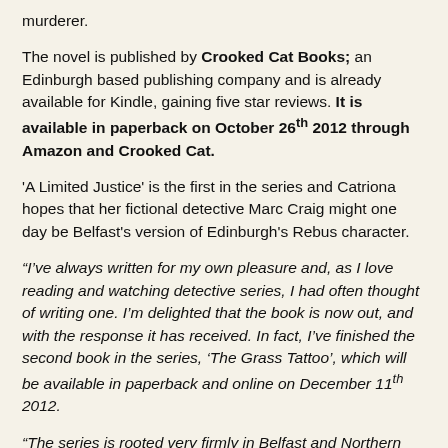murderer.
The novel is published by Crooked Cat Books; an Edinburgh based publishing company and is already available for Kindle, gaining five star reviews. It is available in paperback on October 26th 2012 through Amazon and Crooked Cat.
'A Limited Justice' is the first in the series and Catriona hopes that her fictional detective Marc Craig might one day be Belfast's version of Edinburgh's Rebus character.
“I’ve always written for my own pleasure and, as I love reading and watching detective series, I had often thought of writing one. I’m delighted that the book is now out, and with the response it has received. In fact, I’ve finished the second book in the series, ‘The Grass Tattoo’, which will be available in paperback and online on December 11th 2012.
“The series is rooted very firmly in Belfast and Northern Ireland as a whole and has lots of local references. I hope